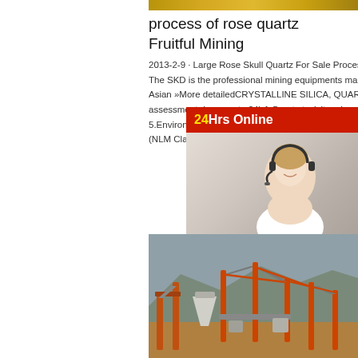[Figure (photo): Top partial image strip - appears to be a mining/industrial scene]
process of rose quartz Fruitful Mining
2013-2-9 · Large Rose Skull Quartz For Sale Process Crusher, Mining . Large Rose Skull Quartz F… 16 Views. The SKD is the professional mining equipments manufacturer in the world, located in China,India, along with other Asian »More detailedCRYSTALLINE SILICA, QUARTZ,C… silica, quartz. (Concise international chemical assessment document ; 24) 1.Quartz toxicity adverse effects 3.Risk assessment 4.Occup exposure 5.Environmental exposure 6.Epide studies I.Programme on Chemical Safety II.S ISBN 92 4 153023 5 (NLM Classification: QV ISSN 1020-6167
[Figure (infographic): Chat widget: 24Hrs Online banner with customer service representative wearing headset, Need questions & suggestion? Chat Now button]
[Figure (photo): Mining site with orange/rust colored industrial conveyor belt equipment and machinery in an open quarry]